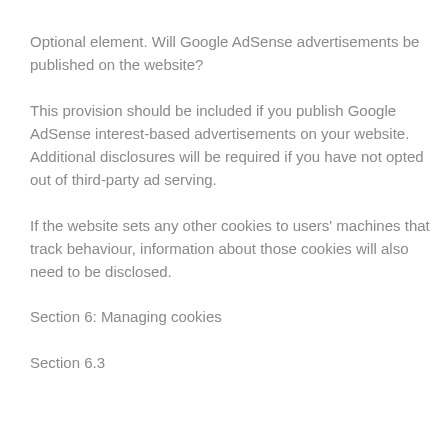Optional element. Will Google AdSense advertisements be published on the website?
This provision should be included if you publish Google AdSense interest-based advertisements on your website. Additional disclosures will be required if you have not opted out of third-party ad serving.
If the website sets any other cookies to users' machines that track behaviour, information about those cookies will also need to be disclosed.
Section 6: Managing cookies
Section 6.3